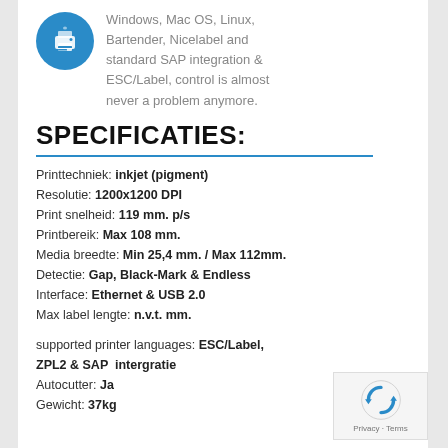[Figure (illustration): Blue circle icon with white printer/device graphic]
Windows, Mac OS, Linux, Bartender, Nicelabel and standard SAP integration & ESC/Label, control is almost never a problem anymore.
SPECIFICATIES:
Printtechniek: inkjet (pigment)
Resolutie: 1200x1200 DPI
Print snelheid: 119 mm. p/s
Printbereik: Max 108 mm.
Media breedte: Min 25,4 mm. / Max 112mm.
Detectie: Gap, Black-Mark & Endless
Interface: Ethernet & USB 2.0
Max label lengte: n.v.t. mm.

supported printer languages: ESC/Label, ZPL2 & SAP  intergratie
Autocutter: Ja
Gewicht: 37kg